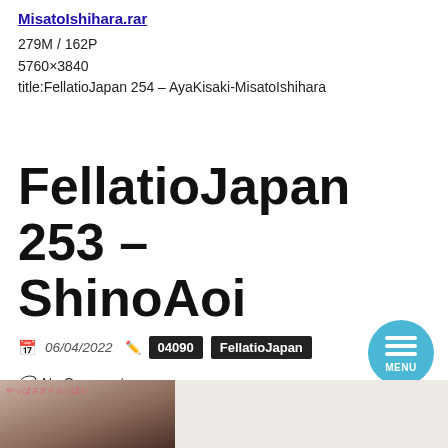MisatoIshihara.rar
279M / 162P
5760×3840
title:FellatioJapan 254 – AyaKisaki-MisatoIshihara
FellatioJapan 253 – ShinoAoi
06/04/2022   04090   FellatioJapan
No Comments
[Figure (photo): Partial photo of a person at the bottom of the page, with a light background on the right side. A small watermark in Japanese/pink text appears in the top-left of the photo area.]